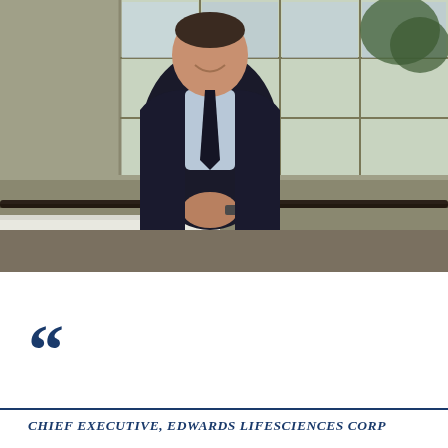[Figure (photo): Professional portrait of a smiling middle-aged man in a dark suit and light blue shirt, leaning on a white ledge/railing in a modern office building lobby with large glass windows and greenery in the background.]
““
CHIEF EXECUTIVE, EDWARDS LIFESCIENCES CORP